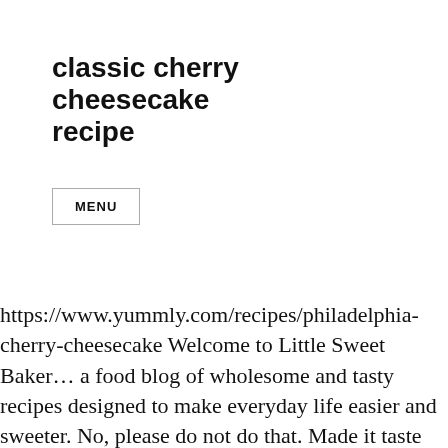classic cherry cheesecake recipe
MENU
https://www.yummly.com/recipes/philadelphia-cherry-cheesecake Welcome to Little Sweet Baker... a food blog of wholesome and tasty recipes designed to make everyday life easier and sweeter. No, please do not do that. Made it taste too tangy. I hope you enjoy the cheesecake and have a great day! Beat cream cheese, 1 cup of the remaining sugar and vanilla with mixer until blended. You just might have to decrease the baking